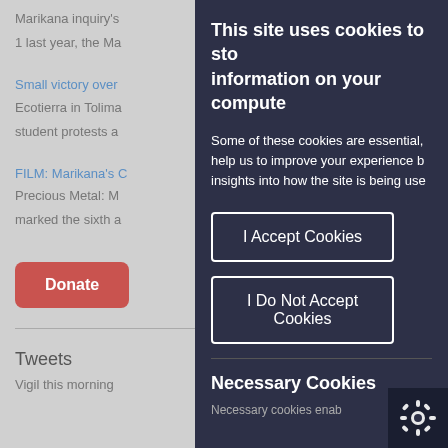Marikana inquiry's
1 last year, the Ma
Small victory over
Ecotierra in Tolima
student protests a
FILM: Marikana's C
Precious Metal: M
marked the sixth a
Donate
Tweets
Vigil this morning
This site uses cookies to store information on your computer.
Some of these cookies are essential, help us to improve your experience by insights into how the site is being used.
I Accept Cookies
I Do Not Accept Cookies
Necessary Cookies
Necessary cookies enab